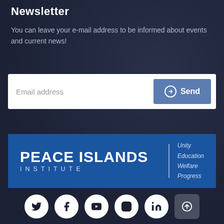Newsletter
You can leave your e-mail address to be informed about events and current news!
[Figure (screenshot): Email subscription form with 'Email address' input field and a blue 'Send' button with arrow circle icon]
[Figure (logo): Peace Islands Institute logo on blue background with taglines: Unity, Education, Welfare, Progress]
[Figure (infographic): Social media icons row: Twitter, Facebook, YouTube, Instagram, LinkedIn, and a scroll-to-top button]